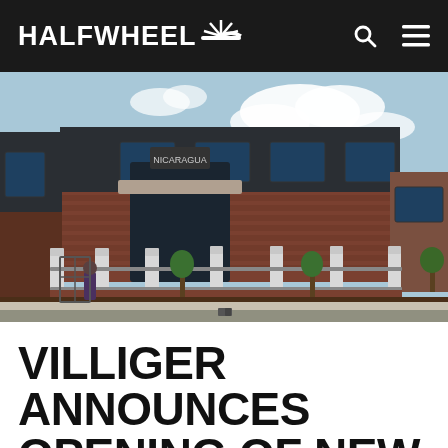HALFWHEEL
[Figure (photo): Exterior photo of a brick and dark metal building with white pillared fence along the sidewalk, young trees planted along the curb, a sign reading Nicaragua above the entrance, blue sky with clouds in background.]
VILLIGER ANNOUNCES OPENING OF NEW NICARAGUAN FACTORY